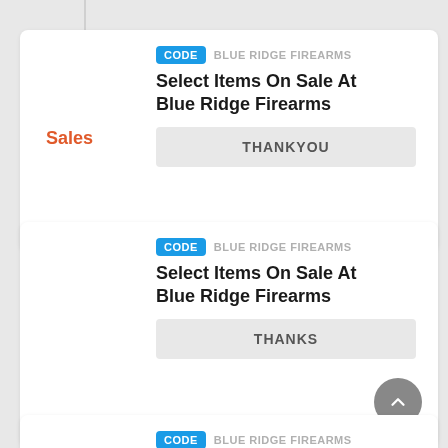Sales
CODE  BLUE RIDGE FIREARMS
Select Items On Sale At Blue Ridge Firearms
THANKYOU
Sales
CODE  BLUE RIDGE FIREARMS
Select Items On Sale At Blue Ridge Firearms
THANKS
CODE  BLUE RIDGE FIREARMS